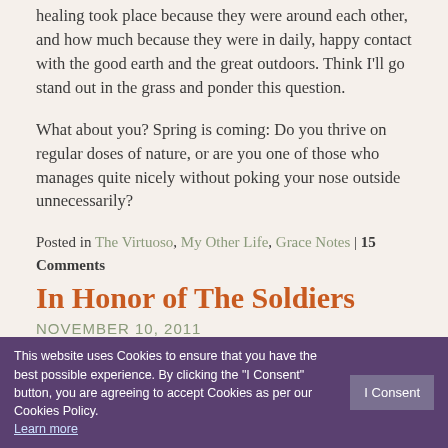healing took place because they were around each other, and how much because they were in daily, happy contact with the good earth and the great outdoors. Think I'll go stand out in the grass and ponder this question.
What about you? Spring is coming: Do you thrive on regular doses of nature, or are you one of those who manages quite nicely without poking your nose outside unnecessarily?
Posted in The Virtuoso, My Other Life, Grace Notes | 15 Comments
In Honor of The Soldiers
NOVEMBER 10, 2011
“The Soldier” is dedicated to my oldest brother, John, who is a soldier in the best
[Figure (photo): Book cover image showing a romantic scene with figures, partial text visible at bottom reading GRACE BURROWES]
This website uses Cookies to ensure that you have the best possible experience. By clicking the "I Consent" button, you are agreeing to accept Cookies as per our Cookies Policy. Learn more